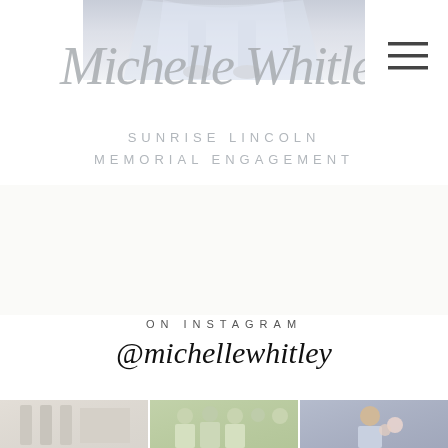[Figure (photo): Top photo strip showing bride in dress, partially visible from waist down]
[Figure (logo): Michelle Whitley cursive script logo in silver/grey]
SUNRISE LINCOLN MEMORIAL ENGAGEMENT
ON INSTAGRAM
@michellewhitley
[Figure (photo): Three Instagram preview photos: stone architecture/venue, group of bridesmaids outdoors, child with flowers]